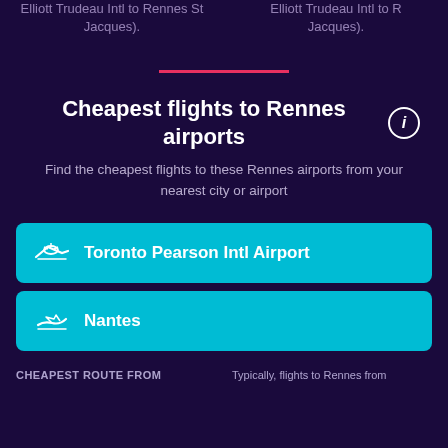Elliott Trudeau Intl to Rennes St Jacques).
Elliott Trudeau Intl to R Jacques).
Cheapest flights to Rennes airports
Find the cheapest flights to these Rennes airports from your nearest city or airport
Toronto Pearson Intl Airport
Nantes
CHEAPEST ROUTE FROM
Typically, flights to Rennes from